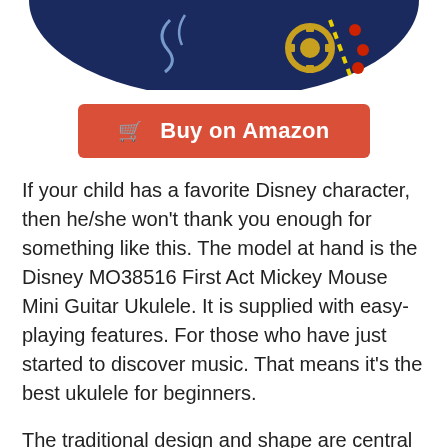[Figure (illustration): Partial view of a circular dark navy blue product image (likely a ukulele or music-themed item) cropped at the top of the page, showing decorative elements including gears and dots.]
Buy on Amazon
If your child has a favorite Disney character, then he/she won't thank you enough for something like this. The model at hand is the Disney MO38516 First Act Mickey Mouse Mini Guitar Ukulele. It is supplied with easy-playing features. For those who have just started to discover music. That means it's the best ukulele for beginners.
The traditional design and shape are central to the unique sound. The four nylon equipped strings are comfortable to work with. And harmless as well! So those little fingers can press on them as much they like.